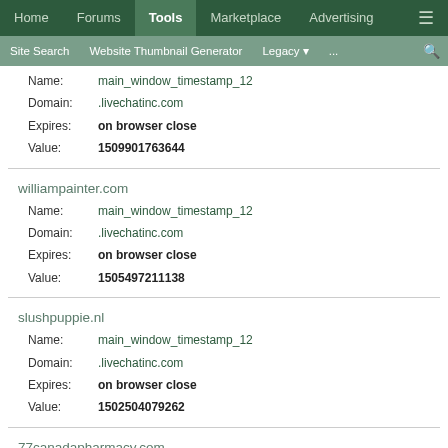Home | Forums | Tools | Marketplace | Advertising | ≡
Site Search | Website Thumbnail Generator | Legacy | ... | 🔍
Name: main_window_timestamp_12
Domain: .livechatinc.com
Expires: on browser close
Value: 1509901763644
williampainter.com
Name: main_window_timestamp_12
Domain: .livechatinc.com
Expires: on browser close
Value: 1505497211138
slushpuppie.nl
Name: main_window_timestamp_12
Domain: .livechatinc.com
Expires: on browser close
Value: 1502504079262
77canadapharmacy.com
Name: main_window_timestamp_12
Domain: .livechatinc.com
Expires: on browser close
Value: 1501371864026